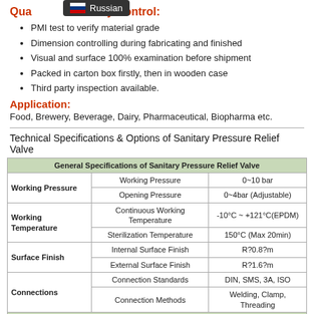Quality Control:
PMI test to verify material grade
Dimension controlling during fabricating and finished
Visual and surface 100% examination before shipment
Packed in carton box firstly, then in wooden case
Third party inspection available.
Application:
Food, Brewery, Beverage, Dairy, Pharmaceutical, Biopharma etc.
Technical Specifications & Options of Sanitary Pressure Relief Valve
| General Specifications of Sanitary Pressure Relief Valve |  |  |
| --- | --- | --- |
| Working Pressure | Working Pressure | 0~10 bar |
|  | Opening Pressure | 0~4bar (Adjustable) |
| Working Temperature | Continuous Working Temperature | -10°C ~ +121°C(EPDM) |
|  | Sterilization Temperature | 150°C (Max 20min) |
| Surface Finish | Internal Surface Finish | R?0.8?m |
|  | External Surface Finish | R?1.6?m |
| Connections | Connection Standards | DIN, SMS, 3A, ISO |
|  | Connection Methods | Welding, Clamp, Threading |
| Material |  |  |